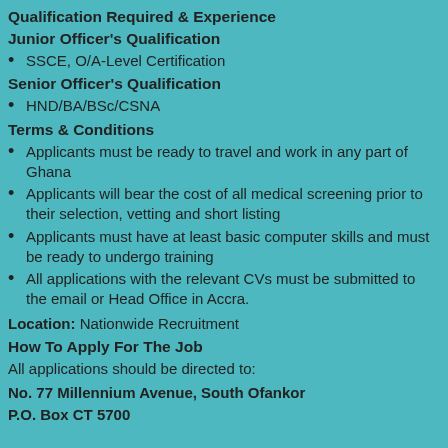Qualification Required & Experience
Junior Officer's Qualification
SSCE, O/A-Level Certification
Senior Officer's Qualification
HND/BA/BSc/CSNA
Terms & Conditions
Applicants must be ready to travel and work in any part of Ghana
Applicants will bear the cost of all medical screening prior to their selection, vetting and short listing
Applicants must have at least basic computer skills and must be ready to undergo training
All applications with the relevant CVs must be submitted to the email or Head Office in Accra.
Location: Nationwide Recruitment
How To Apply For The Job
All applications should be directed to:
No. 77 Millennium Avenue, South Ofankor
P.O. Box CT 5700